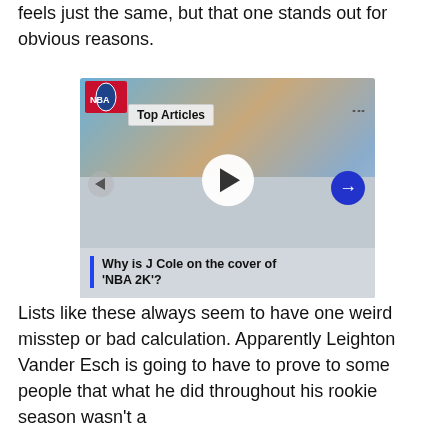feels just the same, but that one stands out for obvious reasons.
[Figure (screenshot): Video thumbnail showing J Cole on the cover of NBA 2K, with a play button, Top Articles badge, and navigation arrows. A title overlay reads: Why is J Cole on the cover of 'NBA 2K'?]
Lists like these always seem to have one weird misstep or bad calculation. Apparently Leighton Vander Esch is going to have to prove to some people that what he did throughout his rookie season wasn't a